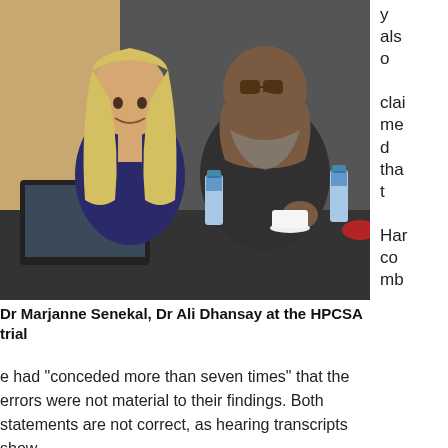[Figure (photo): Dr Marjanne Senekal and Dr Ali Dhansay seated at a table at the HPCSA trial. A woman with long blonde hair in a navy top on the left, a man with sunglasses in a dark polo on the right.]
Dr Marjanne Senekal, Dr Ali Dhansay at the HPCSA trial
y also claimed that Harcombe had “conceded more than seven times” that the errors were not material to their findings. Both statements are not correct, as hearing transcripts show.
Senekal was present throughout the hearing. Thus, she would – or should – have conveyed that to her co-authors.
The review authors responded in a letter to the SAMJ in December 2016. Again, they claimed to have addressed all